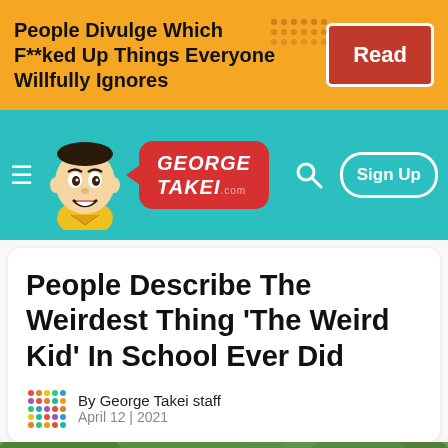People Divulge Which F**ked Up Things Everyone Willfully Ignores | Read
[Figure (logo): George Takei .com website navigation bar with mascot illustration, logo bubble, search icon, and Sign Up button]
People Describe The Weirdest Thing 'The Weird Kid' In School Ever Did
By George Takei staff
April 12 | 2021
[Figure (photo): Blurred background photo of soap bubbles floating outdoors with green foliage in the background]